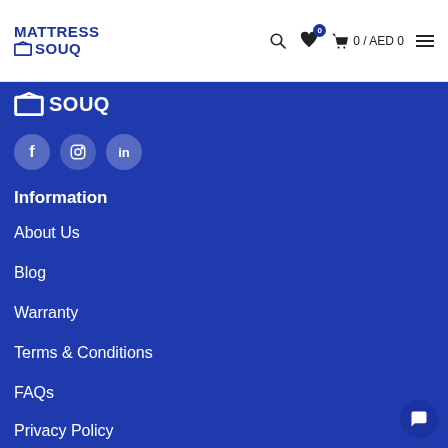MATTRESS SOUQ — 0 / AED 0
[Figure (logo): SOUQ logo in blue with white mattress box icon]
[Figure (infographic): Social media icons: Facebook, circular (Instagram?), LinkedIn]
Information
About Us
Blog
Warranty
Terms & Conditions
FAQs
Privacy Policy